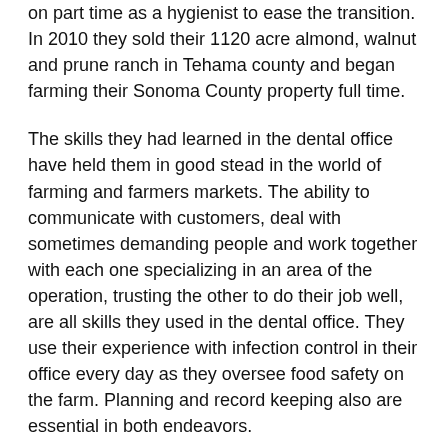on part time as a hygienist to ease the transition. In 2010 they sold their 1120 acre almond, walnut and prune ranch in Tehama county and began farming their Sonoma County property full time.
The skills they had learned in the dental office have held them in good stead in the world of farming and farmers markets. The ability to communicate with customers, deal with sometimes demanding people and work together with each one specializing in an area of the operation, trusting the other to do their job well, are all skills they used in the dental office. They use their experience with infection control in their office every day as they oversee food safety on the farm. Planning and record keeping also are essential in both endeavors.
Both Corrie and Janet earned biochemistry degrees from UC Davis and bring their scientific backgrounds to problem solving on the farm. Long years of dealing with pests on a large farm have taught them that staying ahead of the problem is